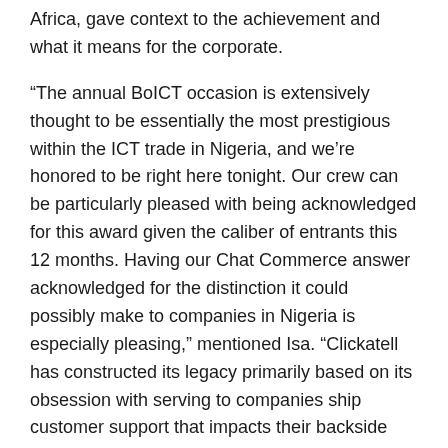Africa, gave context to the achievement and what it means for the corporate.
“The annual BoICT occasion is extensively thought to be essentially the most prestigious within the ICT trade in Nigeria, and we’re honored to be right here tonight. Our crew can be particularly pleased with being acknowledged for this award given the caliber of entrants this 12 months. Having our Chat Commerce answer acknowledged for the distinction it could possibly make to companies in Nigeria is especially pleasing,” mentioned Isa. “Clickatell has constructed its legacy primarily based on its obsession with serving to companies ship customer support that impacts their backside line and improves the lives of their clients. We see Chat Commerce as enjoying a key half in driving monetary inclusion for Nigerians and serving to them entry the providers they’re in search of shortly, merely and on the platforms they like to make use of.”